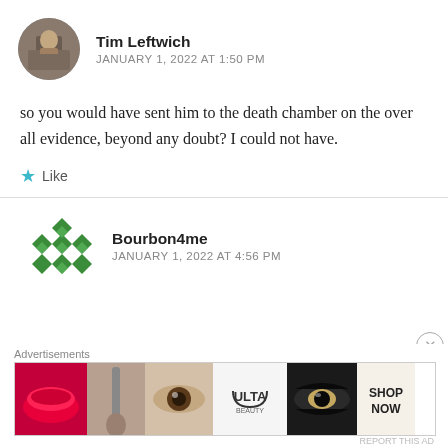[Figure (photo): Circular avatar photo of Tim Leftwich showing a person in front of a brick building]
Tim Leftwich
JANUARY 1, 2022 AT 1:50 PM
so you would have sent him to the death chamber on the over all evidence, beyond any doubt? I could not have.
Like
[Figure (logo): Bourbon4me avatar: green diamond pattern logo]
Bourbon4me
JANUARY 1, 2022 AT 4:56 PM
Advertisements
[Figure (photo): Ulta Beauty advertisement banner showing makeup imagery with SHOP NOW text]